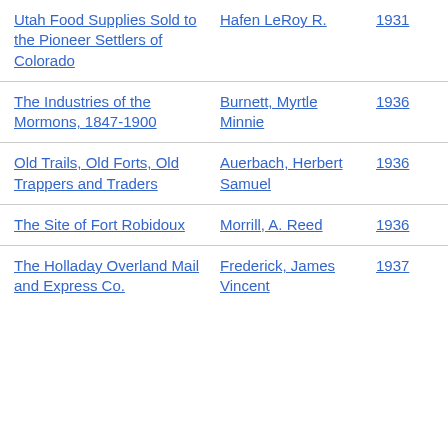| Title | Author | Year | Type |
| --- | --- | --- | --- |
| Utah Food Supplies Sold to the Pioneer Settlers of Colorado | Hafen LeRoy R. | 1931 | Journal Article |
| The Industries of the Mormons, 1847-1900 | Burnett, Myrtle Minnie | 1936 | Dissertation |
| Old Trails, Old Forts, Old Trappers and Traders | Auerbach, Herbert Samuel | 1936 | Journal Article |
| The Site of Fort Robidoux | Morrill, A. Reed | 1936 | Journal Article |
| The Holladay Overland Mail and Express Co. | Frederick, James Vincent | 1937 | Dissertation |